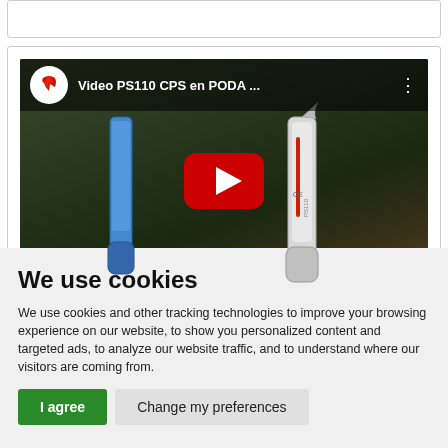[Figure (screenshot): YouTube video thumbnail for 'Video PS110 CPS en PODA ...' showing a pruning tool (PS110) being used, with YouTube play button overlay and channel logo]
We use cookies
We use cookies and other tracking technologies to improve your browsing experience on our website, to show you personalized content and targeted ads, to analyze our website traffic, and to understand where our visitors are coming from.
I agree   Change my preferences